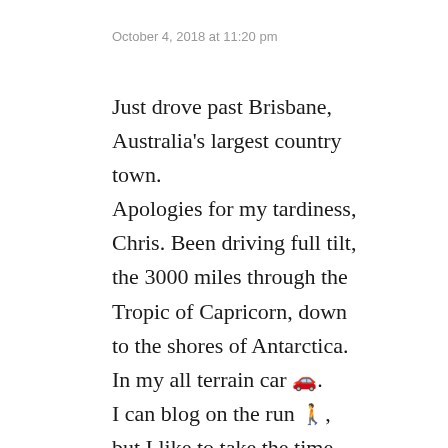October 4, 2018 at 11:20 pm
Just drove past Brisbane, Australia's largest country town.
Apologies for my tardiness, Chris. Been driving full tilt, the 3000 miles through the Tropic of Capricorn, down to the shores of Antarctica. In my all terrain car 🚗. I can blog on the run 🚶, but I like to take the time to savour the mayhem of Van Helsings eclectic writings.